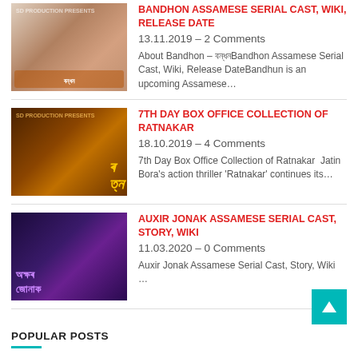BANDHON ASSAMESE SERIAL CAST, WIKI, RELEASE DATE
13.11.2019 – 2 Comments
About Bandhon – বন্ধন Bandhon Assamese Serial Cast, Wiki, Release DateBandhun is an upcoming Assamese…
7TH DAY BOX OFFICE COLLECTION OF RATNAKAR
18.10.2019 – 4 Comments
7th Day Box Office Collection of Ratnakar  Jatin Bora's action thriller 'Ratnakar' continues its…
AUXIR JONAK ASSAMESE SERIAL CAST, STORY, WIKI
11.03.2020 – 0 Comments
Auxir Jonak Assamese Serial Cast, Story, Wiki …
POPULAR POSTS
Assamese Song Download – New Assamese Mp3 songs, Assamese movie